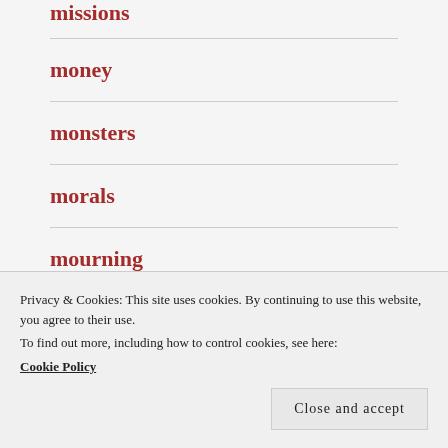missions
money
monsters
morals
mourning
movies
Privacy & Cookies: This site uses cookies. By continuing to use this website, you agree to their use.
To find out more, including how to control cookies, see here:
Cookie Policy
Close and accept